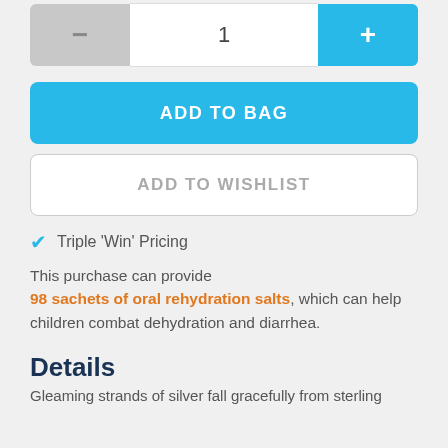[Figure (screenshot): Quantity selector with minus button (grey), number 1, and plus button (blue)]
ADD TO BAG
ADD TO WISHLIST
Triple 'Win' Pricing
This purchase can provide 98 sachets of oral rehydration salts, which can help children combat dehydration and diarrhea.
Details
Gleaming strands of silver fall gracefully from sterling